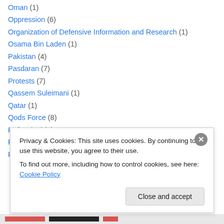Oman (1)
Oppression (6)
Organization of Defensive Information and Research (1)
Osama Bin Laden (1)
Pakistan (4)
Pasdaran (7)
Protests (7)
Qassem Suleimani (1)
Qatar (1)
Qods Force (8)
Rafsanjani (1)
Rouhani (2)
Russia (6)
Privacy & Cookies: This site uses cookies. By continuing to use this website, you agree to their use. To find out more, including how to control cookies, see here: Cookie Policy